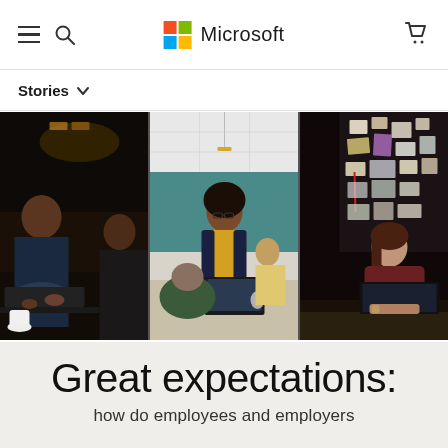Microsoft — navigation bar with hamburger menu, search icon, Microsoft logo, and cart icon
Stories ∨
[Figure (photo): Three side-by-side photos: left — two people collaborating over a laptop in a dark restaurant/lounge setting; center — a woman in a yellow sweater and blazer standing at a desk with colleagues in a bright office; right — a woman in a maroon top working at a desk with a pinboard of notes behind her.]
Great expectations:
(partially visible subtitle text)